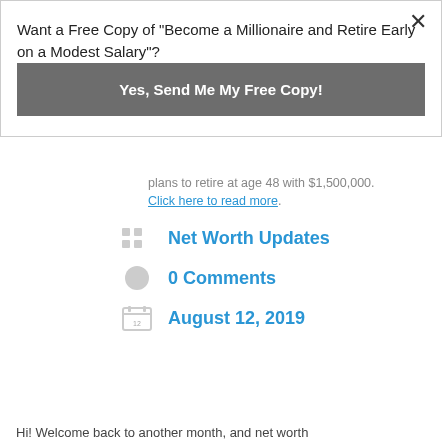Want a Free Copy of "Become a Millionaire and Retire Early on a Modest Salary"?
Yes, Send Me My Free Copy!
plans to retire at age 48 with $1,500,000. Click here to read more.
Net Worth Updates
0 Comments
August 12, 2019
Hi! Welcome back to another month, and net worth